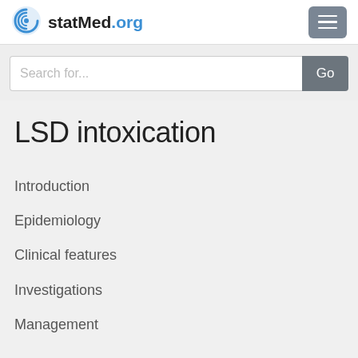statMed.org
Search for...
LSD intoxication
Introduction
Epidemiology
Clinical features
Investigations
Management